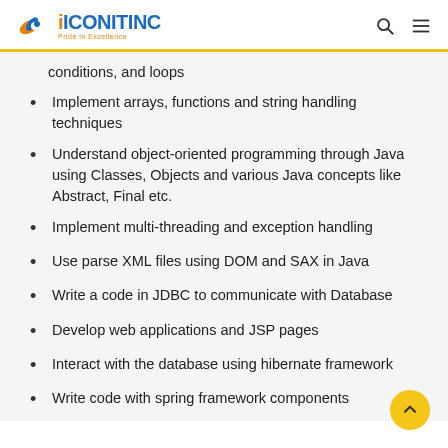ICONITINC — Pride in Excellence
conditions, and loops
Implement arrays, functions and string handling techniques
Understand object-oriented programming through Java using Classes, Objects and various Java concepts like Abstract, Final etc.
Implement multi-threading and exception handling
Use parse XML files using DOM and SAX in Java
Write a code in JDBC to communicate with Database
Develop web applications and JSP pages
Interact with the database using hibernate framework
Write code with spring framework components